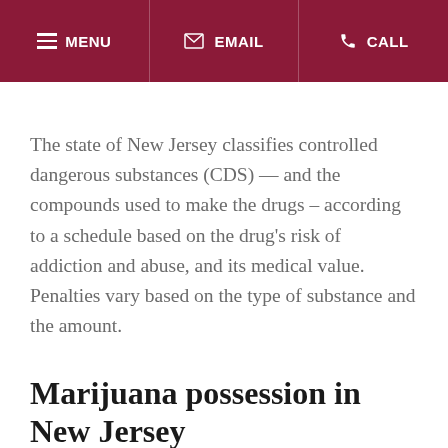MENU  EMAIL  CALL
The state of New Jersey classifies controlled dangerous substances (CDS) — and the compounds used to make the drugs – according to a schedule based on the drug's risk of addiction and abuse, and its medical value. Penalties vary based on the type of substance and the amount.
Marijuana possession in New Jersey